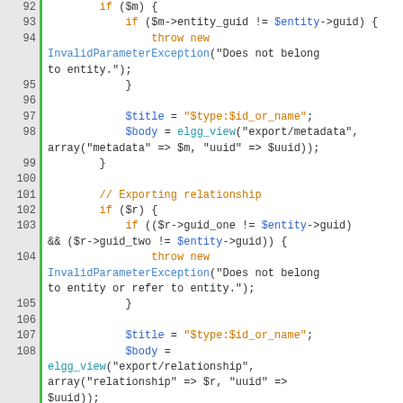[Figure (screenshot): PHP source code viewer showing lines 92-114 with syntax highlighting. Line numbers on left with green bar separators. Keywords in orange/blue, variables in blue, strings in orange, comments in orange.]